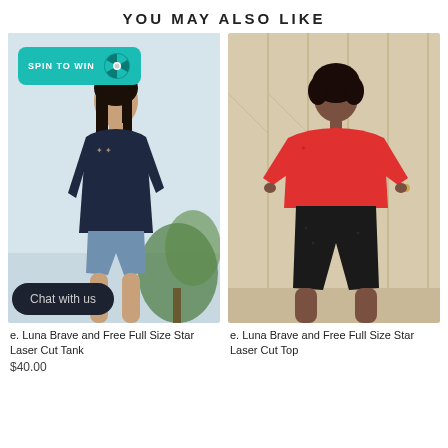YOU MAY ALSO LIKE
[Figure (photo): Model wearing a navy sleeveless V-neck tank top with star laser cut details on the shoulder, paired with denim shorts, with a monstera plant in background. A 'SPIN TO WIN' teal badge is overlaid at the top left of the image.]
[Figure (photo): Model wearing a red short-sleeve top with star laser cut details on the shoulder, paired with black pants, standing in front of a bamboo room divider background.]
e. Luna Brave and Free Full Size Star Laser Cut Tank
$40.00
e. Luna Brave and Free Full Size Star Laser Cut Top